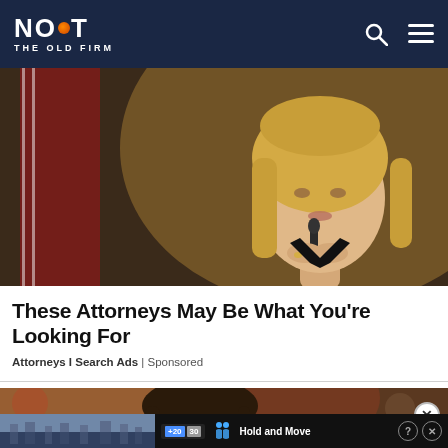NOT THE OLD FIRM
[Figure (photo): Professional blonde woman in a black blazer, seated at a desk with a microphone, hands clasped, with an American flag in the background — depicting an attorney or official.]
These Attorneys May Be What You're Looking For
Attorneys I Search Ads | Sponsored
[Figure (photo): Second advertisement image showing a dark-haired woman, partially cropped, appearing to be in a legal or professional setting with a blurred red background.]
[Figure (screenshot): Small inline ad overlay showing a mobile game interface with 'Hold and Move' text and a score display, with close (X) and help (?) buttons.]